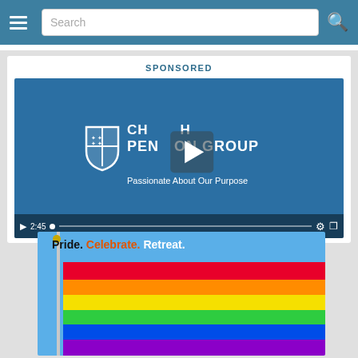Search
SPONSORED
[Figure (screenshot): Church Pension Group video player showing logo and text 'Passionate About Our Purpose' on blue background with play button overlay and 2:45 duration control bar]
[Figure (photo): Pride flag flying against blue sky with text overlay reading 'Pride. Celebrate. Retreat.']